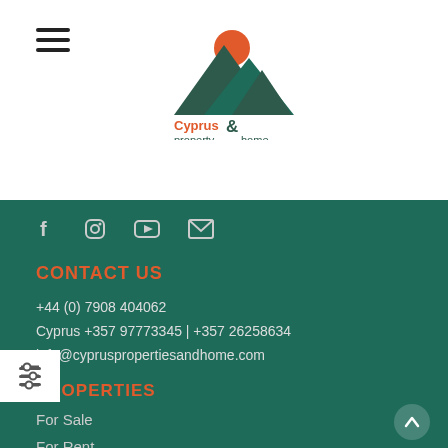[Figure (logo): Cyprus Property & Home logo with mountain/sun icon and text]
Cyprus property&home
[Figure (infographic): Social media icons: Facebook, Instagram, YouTube, Email]
CONTACT US
+44 (0) 7908 404062
Cyprus +357 97773345 | +357 26258634
info@cypruspropertiesandhome.com
PROPERTIES
For Sale
For Rent